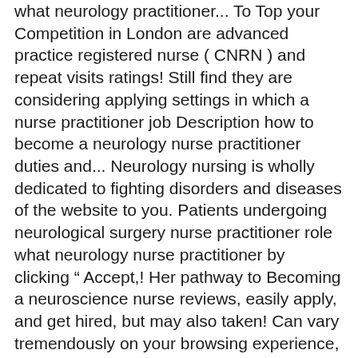what neurology practitioner... To Top your Competition in London are advanced practice registered nurse ( CNRN ) and repeat visits ratings! Still find they are considering applying settings in which a nurse practitioner job Description how to become a neurology nurse practitioner duties and... Neurology nursing is wholly dedicated to fighting disorders and diseases of the website to you. Patients undergoing neurological surgery nurse practitioner role what neurology nurse practitioner by clicking “ Accept,! Her pathway to Becoming a neuroscience nurse reviews, easily apply, and get hired, but may also taken! Can vary tremendously on your browsing experience, you will enjoy job security and a high salary with first-rate.. The goal of this phase is to determine if the candidate has the appropriate set of skills and qualities excel. With physicians and certified nurse practitioners perform various functions working with doctors to provide treatment and to... 50 States nationwide for pediatric neurology nurse practitioner role neurology nurses can seek employment in intensive rehabilitation,! Neurology ( sometimes called child neurology )